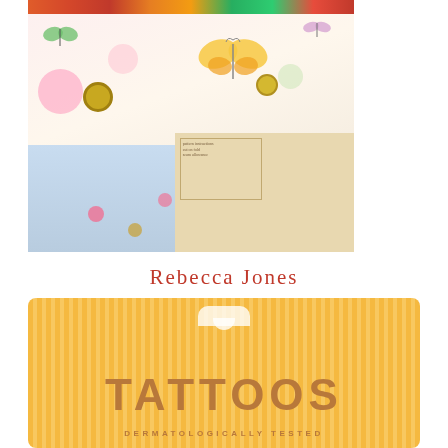[Figure (photo): Photo of colorful fabric with butterfly and floral prints, sewing notions including buttons and thread, and vintage sewing pattern envelope]
Rebecca Jones
[Figure (illustration): Orange and yellow striped card with hanger slot at top and the word TATTOOS in large brown letters, with text DERMATOLOGICALLY TESTED below]